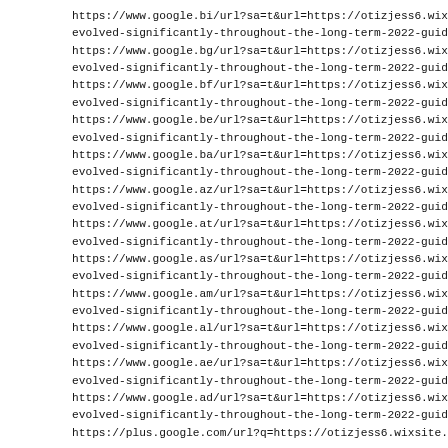https://www.google.bi/url?sa=t&url=https://otizjess6.wixsite.com/exper evolved-significantly-throughout-the-long-term-2022-guide
https://www.google.bg/url?sa=t&url=https://otizjess6.wixsite.com/exper evolved-significantly-throughout-the-long-term-2022-guide
https://www.google.bf/url?sa=t&url=https://otizjess6.wixsite.com/exper evolved-significantly-throughout-the-long-term-2022-guide
https://www.google.be/url?sa=t&url=https://otizjess6.wixsite.com/exper evolved-significantly-throughout-the-long-term-2022-guide
https://www.google.ba/url?sa=t&url=https://otizjess6.wixsite.com/exper evolved-significantly-throughout-the-long-term-2022-guide
https://www.google.az/url?sa=t&url=https://otizjess6.wixsite.com/exper evolved-significantly-throughout-the-long-term-2022-guide
https://www.google.at/url?sa=t&url=https://otizjess6.wixsite.com/exper evolved-significantly-throughout-the-long-term-2022-guide
https://www.google.as/url?sa=t&url=https://otizjess6.wixsite.com/exper evolved-significantly-throughout-the-long-term-2022-guide
https://www.google.am/url?sa=t&url=https://otizjess6.wixsite.com/expe evolved-significantly-throughout-the-long-term-2022-guide
https://www.google.al/url?sa=t&url=https://otizjess6.wixsite.com/expert evolved-significantly-throughout-the-long-term-2022-guide
https://www.google.ae/url?sa=t&url=https://otizjess6.wixsite.com/exper evolved-significantly-throughout-the-long-term-2022-guide
https://www.google.ad/url?sa=t&url=https://otizjess6.wixsite.com/exper evolved-significantly-throughout-the-long-term-2022-guide
https://plus.google.com/url?q=https://otizjess6.wixsite.com/expertcasino